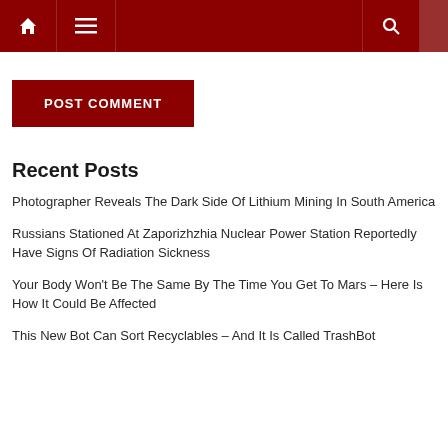Navigation bar with home, menu, and search icons
POST COMMENT
Recent Posts
Photographer Reveals The Dark Side Of Lithium Mining In South America
Russians Stationed At Zaporizhzhia Nuclear Power Station Reportedly Have Signs Of Radiation Sickness
Your Body Won't Be The Same By The Time You Get To Mars – Here Is How It Could Be Affected
This New Bot Can Sort Recyclables – And It Is Called TrashBot